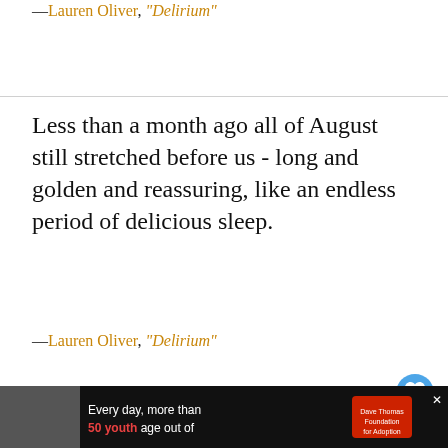—Lauren Oliver, “Delirium”
Less than a month ago all of August still stretched before us - long and golden and reassuring, like an endless period of delicious sleep.
—Lauren Oliver, “Delirium”
[Figure (screenshot): Advertisement area with photo of man and text 'I didn’t understand what love really...' on dark teal background]
ADVERTISEMENT
WHAT’S NEXT → Famous Oliver Joseph Lod...
Every day, more than 50 youth age out of